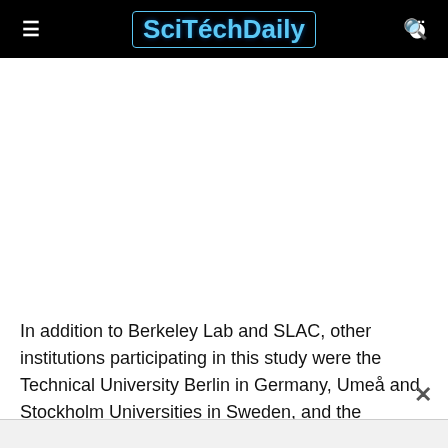SciTechDaily
In addition to Berkeley Lab and SLAC, other institutions participating in this study were the Technical University Berlin in Germany, Umeå and Stockholm Universities in Sweden, and the European Synchrotron Radiation Facility in France.